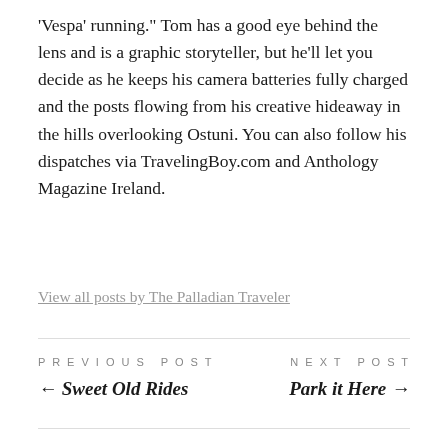'Vespa' running." Tom has a good eye behind the lens and is a graphic storyteller, but he'll let you decide as he keeps his camera batteries fully charged and the posts flowing from his creative hideaway in the hills overlooking Ostuni. You can also follow his dispatches via TravelingBoy.com and Anthology Magazine Ireland.
View all posts by The Palladian Traveler
PREVIOUS POST ← Sweet Old Rides
NEXT POST Park it Here →
9 COMMENTS
Advertisements